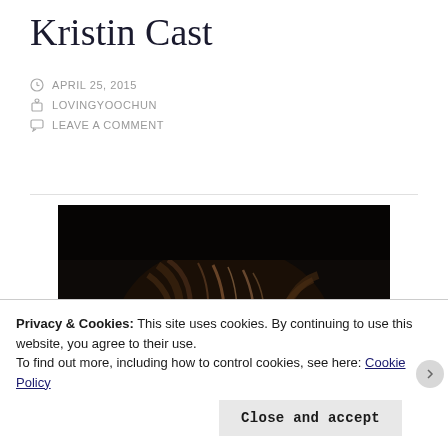Kristin Cast
APRIL 25, 2015
LOVINGYOOCHUN
LEAVE A COMMENT
[Figure (photo): Person with brown hair against a dark background, head bowed or turned downward, dramatic dark moody lighting]
Privacy & Cookies: This site uses cookies. By continuing to use this website, you agree to their use.
To find out more, including how to control cookies, see here: Cookie Policy
Close and accept